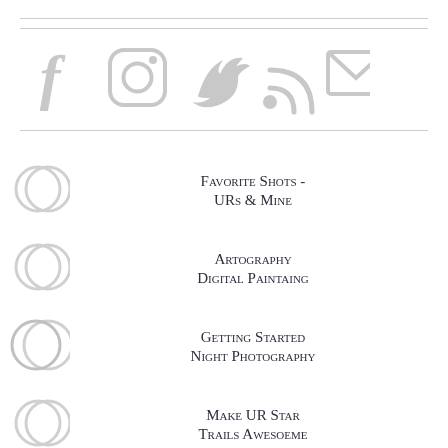[Figure (infographic): Social media icons row: Facebook, Instagram, Twitter, RSS, Email]
Favorite Shots - URs & Mine
Artography Digital Paintaing
Getting Started Night Photography
Make UR Star Trails Awesoeme
Plan A Lunar